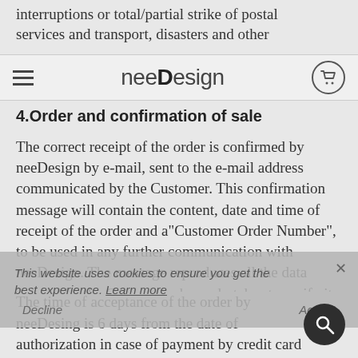interruptions or total/partial strike of postal services and transport, disasters and other
neeDesign
4.Order and confirmation of sale
The correct receipt of the order is confirmed by neeDesign by e-mail, sent to the e-mail address communicated by the Customer. This confirmation message will contain the content, date and time of receipt of the order and a"Customer Order Number", to be used in any further communication with neeDesign. The message reproduces all the data entered by the Customer who undertakes to verify its correctness and to promptly communicate any corrections to neeDesign by e-mail.
This website uses cookies to ensure you get the best experience. Learn more
The time of acceptance of the order by neeDesing is 6 days from the date of authorization in case of payment by credit card